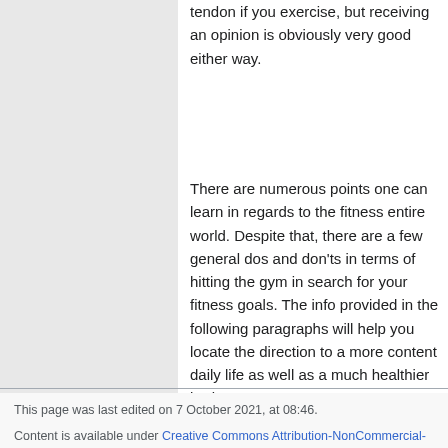You can always take a muscle about one tendon if you exercise, but receiving an opinion is obviously very good either way.
There are numerous points one can learn in regards to the fitness entire world. Despite that, there are a few general dos and don'ts in terms of hitting the gym in search for your fitness goals. The info provided in the following paragraphs will help you locate the direction to a more content daily life as well as a much healthier body.
This page was last edited on 7 October 2021, at 08:46.
Content is available under Creative Commons Attribution-NonCommercial-ShareAlike unless otherwise noted.